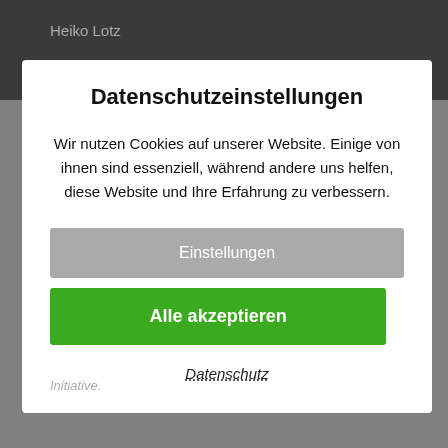Heiko Lotz
Datenschutzeinstellungen
Wir nutzen Cookies auf unserer Website. Einige von ihnen sind essenziell, während andere uns helfen, diese Website und Ihre Erfahrung zu verbessern.
Einstellungen
Alle akzeptieren
Datenschutz
Initiative.